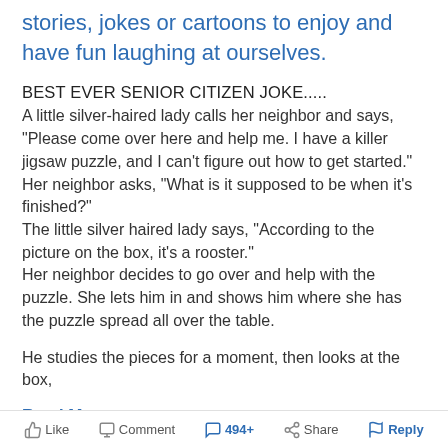stories, jokes or cartoons to enjoy and have fun laughing at ourselves.
BEST EVER SENIOR CITIZEN JOKE.....
A little silver-haired lady calls her neighbor and says, "Please come over here and help me. I have a killer jigsaw puzzle, and I can't figure out how to get started."
Her neighbor asks, "What is it supposed to be when it's finished?"
The little silver haired lady says, "According to the picture on the box, it's a rooster."
Her neighbor decides to go over and help with the puzzle. She lets him in and shows him where she has the puzzle spread all over the table.

He studies the pieces for a moment, then looks at the box,
Read More ∨